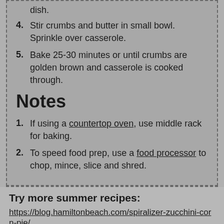dish.
4. Stir crumbs and butter in small bowl. Sprinkle over casserole.
5. Bake 25-30 minutes or until crumbs are golden brown and casserole is cooked through.
Notes
1. If using a countertop oven, use middle rack for baking.
2. To speed food prep, use a food processor to chop, mince, slice and shred.
Try more summer recipes:
https://blog.hamiltonbeach.com/spiralizer-zucchini-corn-pie/